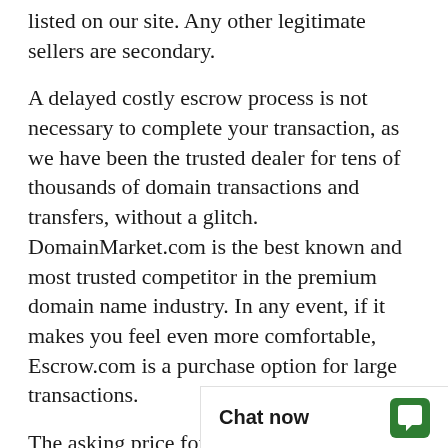listed on our site. Any other legitimate sellers are secondary.
A delayed costly escrow process is not necessary to complete your transaction, as we have been the trusted dealer for tens of thousands of domain transactions and transfers, without a glitch. DomainMarket.com is the best known and most trusted competitor in the premium domain name industry. In any event, if it makes you feel even more comfortable, Escrow.com is a purchase option for large transactions.
The asking price for MetalFinishers.com is based on a careful and professional appraisal by the world's leading experts on domain valuations, the inventors of ecommerce for premi... explicitly certified to b...